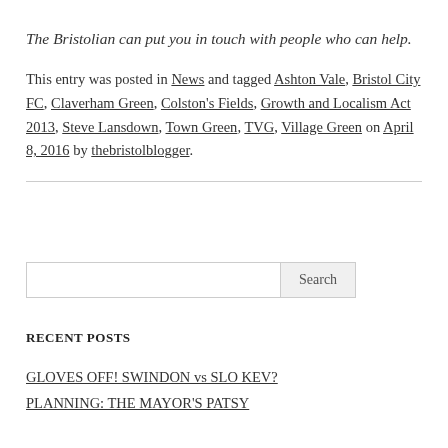The Bristolian can put you in touch with people who can help.
This entry was posted in News and tagged Ashton Vale, Bristol City FC, Claverham Green, Colston's Fields, Growth and Localism Act 2013, Steve Lansdown, Town Green, TVG, Village Green on April 8, 2016 by thebristolblogger.
[Figure (other): Horizontal rule divider]
[Figure (other): Search box with Search button]
RECENT POSTS
GLOVES OFF! SWINDON vs SLO KEV?
PLANNING: THE MAYOR'S PATSY